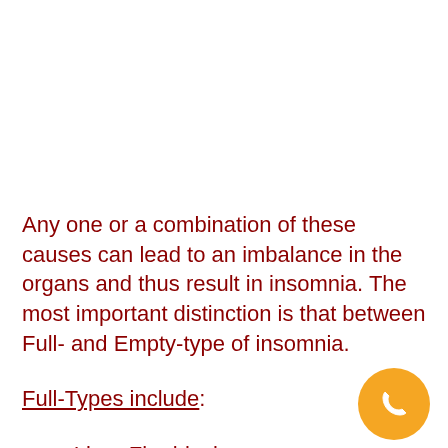Any one or a combination of these causes can lead to an imbalance in the organs and thus result in insomnia. The most important distinction is that between Full- and Empty-type of insomnia.
Full-Types include:
Liver-Fire blazing
Heart-Fire blazing
[Figure (other): Orange circular phone/call button icon in the bottom-right corner]